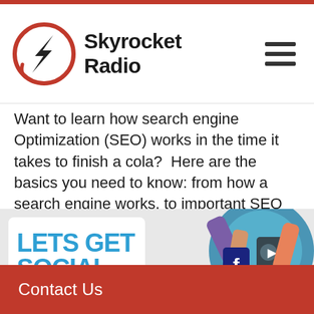Skyrocket Radio
Want to learn how search engine Optimization (SEO) works in the time it takes to finish a cola? Here are the basics you need to know: from how a search engine works, to important SEO for your website and what changes you can... Read More.
[Figure (illustration): Lets Get Social banner with hands holding smartphones showing social media icons on a blue/teal circle background]
Contact Us